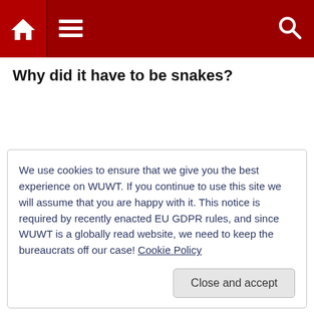Navigation bar with home, menu, and search icons
Why did it have to be snakes?
We use cookies to ensure that we give you the best experience on WUWT. If you continue to use this site we will assume that you are happy with it. This notice is required by recently enacted EU GDPR rules, and since WUWT is a globally read website, we need to keep the bureaucrats off our case! Cookie Policy
Close and accept